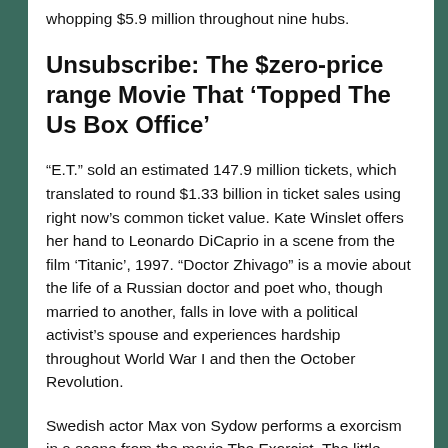whopping $5.9 million throughout nine hubs.
Unsubscribe: The $zero-price range Movie That ‘Topped The Us Box Office’
“E.T.” sold an estimated 147.9 million tickets, which translated to round $1.33 billion in ticket sales using right now’s common ticket value. Kate Winslet offers her hand to Leonardo DiCaprio in a scene from the film ‘Titanic’, 1997. “Doctor Zhivago” is a movie about the life of a Russian doctor and poet who, though married to another, falls in love with a political activist’s spouse and experiences hardship throughout World War I and then the October Revolution.
Swedish actor Max von Sydow performs a exorcism in a scene from the movie The Exorcist. The little woman within the mattress is actress Linda Blair.
Based on the true-life story of the Andrea Gail, a fishing ship that sank in 1991 while caught in a tempest off the coast of